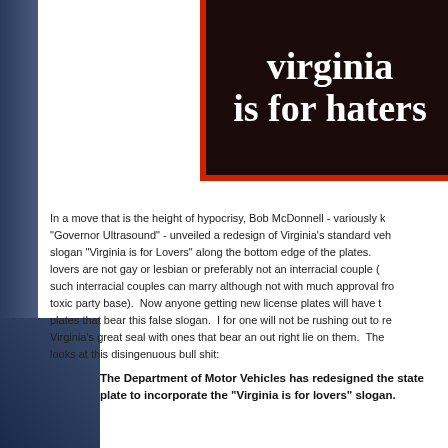[Figure (photo): A sign with dark brown/black background and red border reading 'virginia is for haters' in large white serif bold text]
In a move that is the height of hypocrisy, Bob McDonnell - variously known as "Governor Ultrasound" - unveiled a redesign of Virginia's standard vehicle slogan "Virginia is for Lovers" along the bottom edge of the plates. Of course lovers are not gay or lesbian or preferably not an interracial couple (though such interracial couples can marry although not with much approval from his toxic party base). Now anyone getting new license plates will have to have plates that bear this false slogan. I for one will not be rushing out to replace Virginia's great seal with ones that bear an out right lie on them. The sign looks at this disingenuous bull shit:
The Department of Motor Vehicles has redesigned the state plate to incorporate the "Virginia is for lovers" slogan.